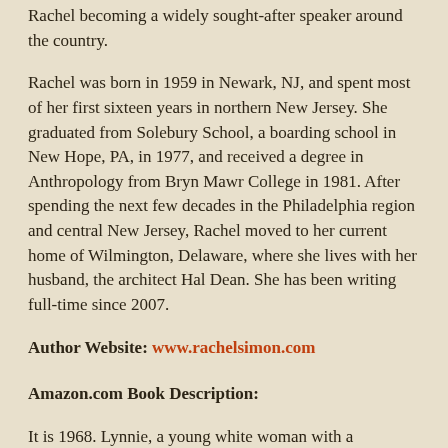Rachel becoming a widely sought-after speaker around the country.
Rachel was born in 1959 in Newark, NJ, and spent most of her first sixteen years in northern New Jersey. She graduated from Solebury School, a boarding school in New Hope, PA, in 1977, and received a degree in Anthropology from Bryn Mawr College in 1981. After spending the next few decades in the Philadelphia region and central New Jersey, Rachel moved to her current home of Wilmington, Delaware, where she lives with her husband, the architect Hal Dean. She has been writing full-time since 2007.
Author Website: www.rachelsimon.com
Amazon.com Book Description:
It is 1968. Lynnie, a young white woman with a developmental disability, and Homan, an African American deaf man, are locked away in an institution, the School for